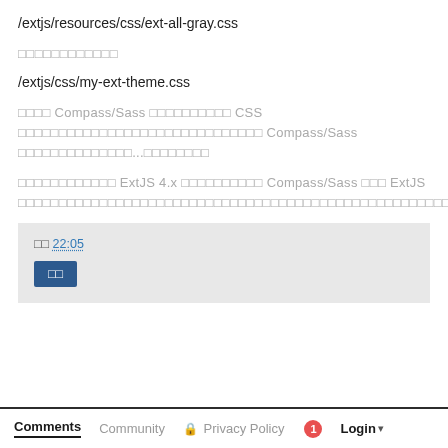/extjs/resources/css/ext-all-gray.css
□□□□□□□□□□□□
/extjs/css/my-ext-theme.css
□□□□ Compass/Sass □□□□□□□□□□ CSS □□□□□□□□□□□□□□□□□□□□□□□□□□□□□□ Compass/Sass □□□□□□□□□□□□□□...□□□□□□□□
□□□□□□□□□□□□ ExtJS 4.x □□□□□□□□□□ Compass/Sass □□□ ExtJS □□□□□□□□□□□□□□□□□□□□□□□□□□□□□□□□□□□□□□□□□□□□□□□□□□□□□□□□□□□□□□□□
□□ 22:05
□□
Comments   Community   Privacy Policy   1   Login